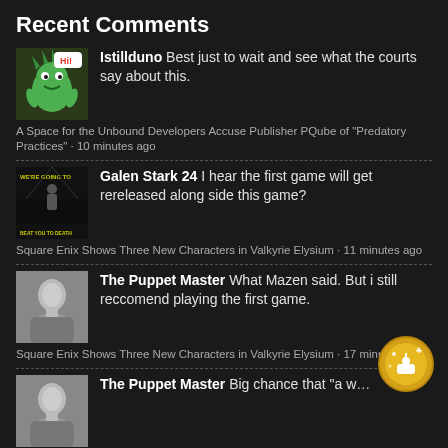Recent Comments
Istillduno Best just to wait and see what the courts say about this.
A Space for the Unbound Developers Accuse Publisher PQube of "Predatory Practices" · 10 minutes ago
Galen Stark 24 I hear the first game will get rereleased along side this game?
Square Enix Shows Three New Characters in Valkyrie Elysium · 11 minutes ago
The Puppet Master What Mazen said. But i still reccomend playing the first game.
Square Enix Shows Three New Characters in Valkyrie Elysium · 17 minutes ago
The Puppet Master Big chance that "a well known console platform" is Sony. Back in April 2020, Sony announced a $10 million fund to help Indie devs that affected by the pandemic. I heard some shady stuff about…